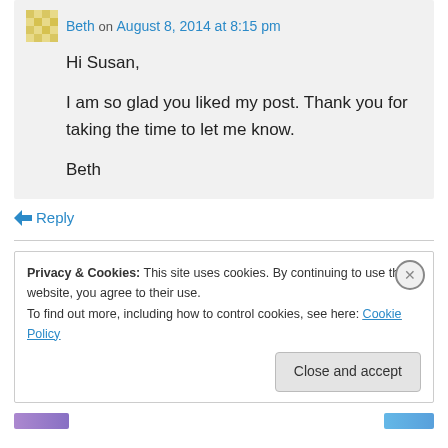Beth on August 8, 2014 at 8:15 pm
Hi Susan,

I am so glad you liked my post. Thank you for taking the time to let me know.

Beth
↳ Reply
Privacy & Cookies: This site uses cookies. By continuing to use this website, you agree to their use.
To find out more, including how to control cookies, see here: Cookie Policy
Close and accept